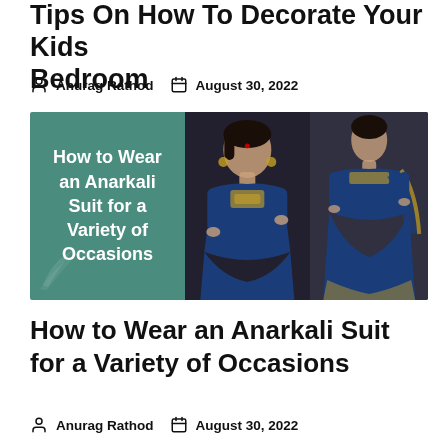Tips On How To Decorate Your Kids Bedroom
Anurag Rathod   August 30, 2022
[Figure (photo): Blog thumbnail image for 'How to Wear an Anarkali Suit for a Variety of Occasions' showing a teal panel with white bold text on left, center panel showing a woman in a blue embroidered Anarkali suit with gold detailing, right panel showing a full-length view of a woman in a blue Anarkali suit with gold border dupatta.]
How to Wear an Anarkali Suit for a Variety of Occasions
Anurag Rathod   August 30, 2022